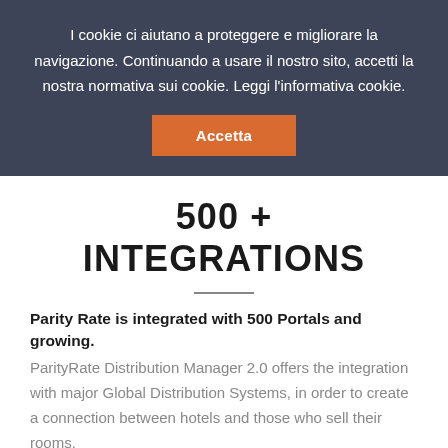I cookie ci aiutano a proteggere e migliorare la navigazione. Continuando a usare il nostro sito, accetti la nostra normativa sui cookie. Leggi l'informativa cookie.
Accetta
500 + INTEGRATIONS
Parity Rate is integrated with 500 Portals and growing.
ParityRate Distribution Manager 2.0 offers the integration with major Global Distribution Systems, in order to create a connection between hotels and those who sell their rooms.
GDS connect travel agencies with airline companies, hotels, car rental offices...